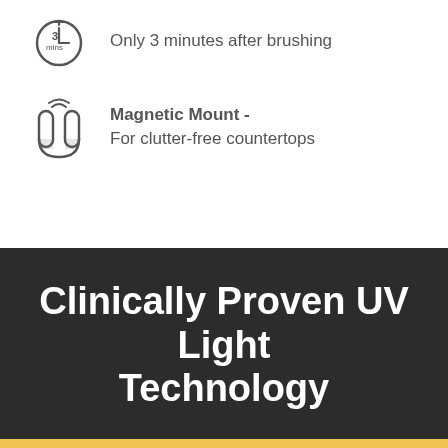Only 3 minutes after brushing
Magnetic Mount - For clutter-free countertops
Clinically Proven UV Light Technology
Order now